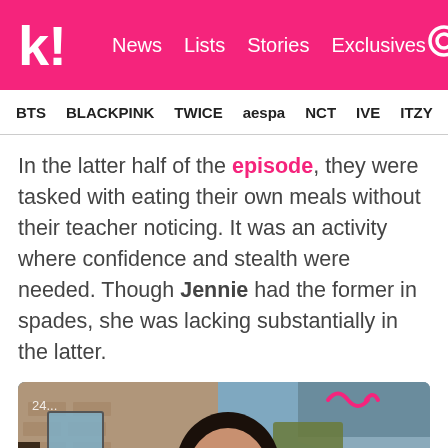k! News Lists Stories Exclusives
BTS BLACKPINK TWICE aespa NCT IVE ITZY
In the latter half of the episode, they were tasked with eating their own meals without their teacher noticing. It was an activity where confidence and stealth were needed. Though Jennie had the former in spades, she was lacking substantially in the latter.
[Figure (photo): Young woman smiling and looking upward, outdoors, wearing a dark argyle vest over a light top with a pearl necklace, with brick building and blue sky in background. Timestamp '24...' visible in top left corner.]